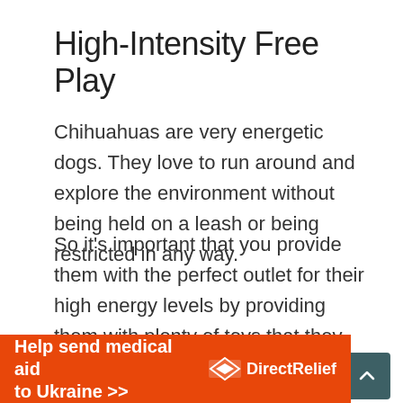High-Intensity Free Play
Chihuahuas are very energetic dogs. They love to run around and explore the environment without being held on a leash or being restricted in any way.
So it's important that you provide them with the perfect outlet for their high energy levels by providing them with plenty of toys that they can play with by themselves.
High-intensity free play not only helps burn off your dog's excess energy, but it also provides the m
[Figure (other): Orange advertisement banner reading 'Help send medical aid to Ukraine >>' with DirectRelief logo]